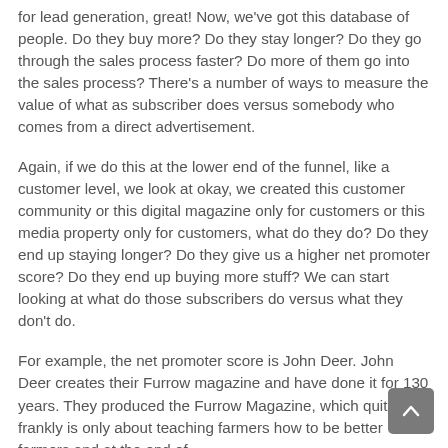for lead generation, great! Now, we've got this database of people. Do they buy more? Do they stay longer? Do they go through the sales process faster? Do more of them go into the sales process? There's a number of ways to measure the value of what as subscriber does versus somebody who comes from a direct advertisement.
Again, if we do this at the lower end of the funnel, like a customer level, we look at okay, we created this customer community or this digital magazine only for customers or this media property only for customers, what do they do? Do they end up staying longer? Do they give us a higher net promoter score? Do they end up buying more stuff? We can start looking at what do those subscribers do versus what they don't do.
For example, the net promoter score is John Deer. John Deer creates their Furrow magazine and have done it for 130 years. They produced the Furrow Magazine, which quite frankly is only about teaching farmers how to be better farmers and at the end of